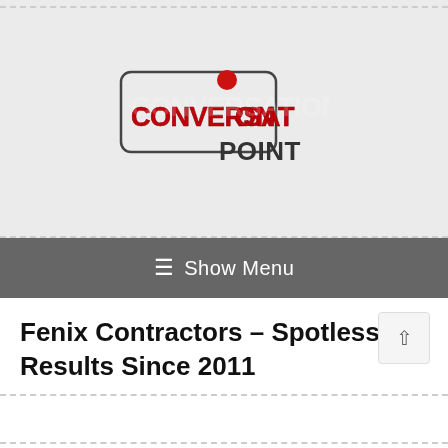[Figure (logo): Conversation Point logo — rounded rectangle border with red gradient 3D text reading CONVERSATION and dark text reading POINT, with a red speech bubble dot over the letter I]
≡  Show Menu
Fenix Contractors – Spotless Results Since 2011